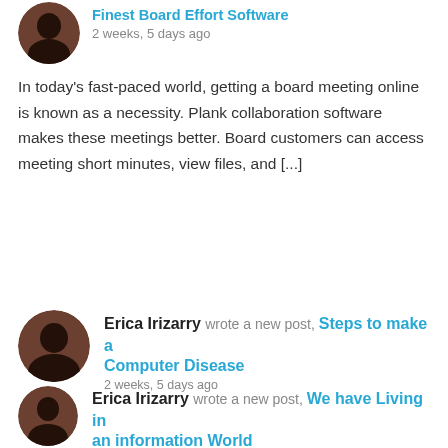Finest Board Effort Software  2 weeks, 5 days ago
In today’s fast-paced world, getting a board meeting online is known as a necessity. Plank collaboration software makes these meetings better. Board customers can access meeting short minutes, view files, and [...]
Erica Irizarry  wrote a new post,  Steps to make a Computer Disease  2 weeks, 5 days ago
There are many methods to learn how to make a computer trojan, and one of them is to give it a try on your own. Producing a malicious virus is normally against the law in many countries. While a computer [...]
Erica Irizarry  wrote a new post,  We have Living in an information World